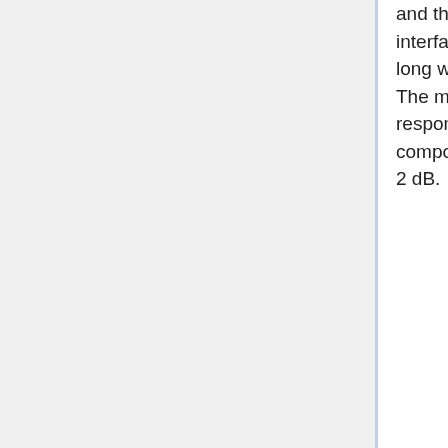and the effect of standing waves caused by impedance mismatch at the interfaces between the FEM and BEM. This is because the 1.8-meter long waveguides were not measured at unit level in cryogenic conditions. The model provides accurate agreement with the measured waveguide response in the conditions of the test measurements (300 K). The composite bandpasses are estimated to have a precision of about 1.5 to 2 dB.
We also attempted an end-to-end measurement of the RCA spectral response in the cryo-facility as an independent check. Unfortunately, these measurements suffered some subtle systematic effects in the test setup (standing waves at 70 GHz; polarisation mismatch and narrow frequency